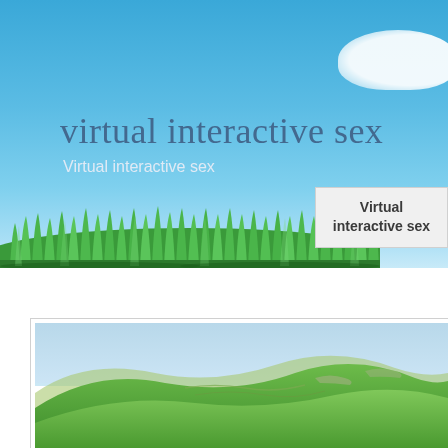[Figure (photo): Top banner: blue sky with white cloud at top right, lush green grass at bottom, with overlaid title text 'virtual interactive sex' and subtitle 'Virtual interactive sex'. A small tooltip box at bottom right reads 'Virtual interactive sex'.]
[Figure (photo): Bottom section: landscape photo showing green rolling hills/mountains with a blue-grey sky, inside a bordered white card.]